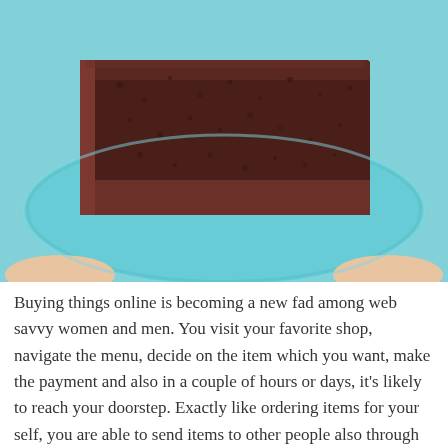[Figure (photo): Close-up photo of a slice of chocolate cake on a light blue/teal plate, held by a person's hands visible at the bottom corners.]
Buying things online is becoming a new fad among web savvy women and men. You visit your favorite shop, navigate the menu, decide on the item which you want, make the payment and also in a couple of hours or days, it's likely to reach your doorstep. Exactly like ordering items for your self, you are able to send items to other people also through the online medium. For example, if you would like to send cakes to Delhi from other cities like Bangalore, Mumbai, etc., an online shop would visit your help. Aside from cakes, you may even send flowers to Delhi, as a number of these stores deliver other gifts like flowers, chocolates, fruit baskets, greeting cards, etc.. .
Needless to say it didn't make a great deal of sound. There was not any answer. He tried knocking on a window, but with the identical outcome. Exasperated, John made a decision to walk